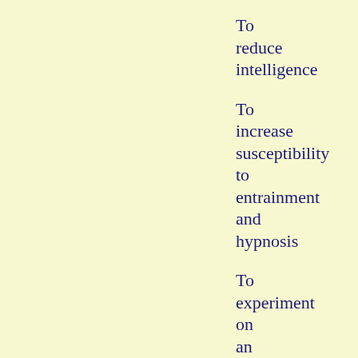To reduce intelligence
To increase susceptibility to entrainment and hypnosis
To experiment on an ignorant populace
To test longevity